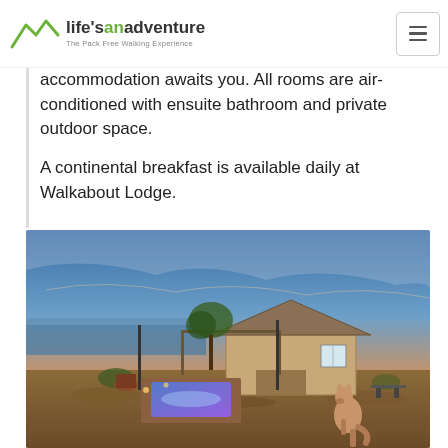life'sanadventure – The Pack Free Walking Experience
accommodation awaits you. All rooms are air-conditioned with ensuite bathroom and private outdoor space.

A continental breakfast is available daily at Walkabout Lodge.
[Figure (photo): Exterior photo of a lodge at sunset with a glowing swimming pool/spa, tan building with pitched roof, ocean visible in background, kangaroo in foreground right]